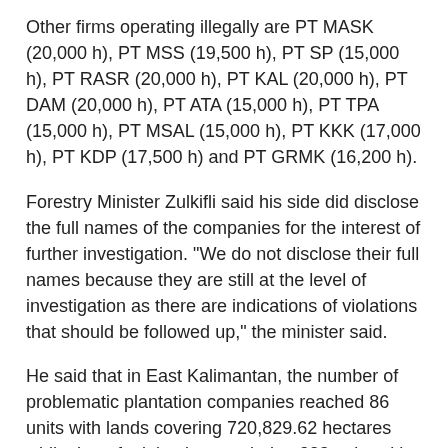Other firms operating illegally are PT MASK (20,000 h), PT MSS (19,500 h), PT SP (15,000 h), PT RASR (20,000 h), PT KAL (20,000 h), PT DAM (20,000 h), PT ATA (15,000 h), PT TPA (15,000 h), PT MSAL (15,000 h), PT KKK (17,000 h), PT KDP (17,500 h) and PT GRMK (16,200 h).
Forestry Minister Zulkifli said his side did disclose the full names of the companies for the interest of further investigation. "We do not disclose their full names because they are still at the level of investigation as there are indications of violations that should be followed up," the minister said.
He said that in East Kalimantan, the number of problematic plantation companies reached 86 units with lands covering 720,829.62 hectares while that of mining is recorded at 223 units with a land of 774,519.45 hectares.
In West Kalimantan, problematic plantation companies number 169 units with a total areas covering 2,145,846.23 hectares and mining firms are recorded at 384 units which an combined area of 3,602,263.30 hectares.